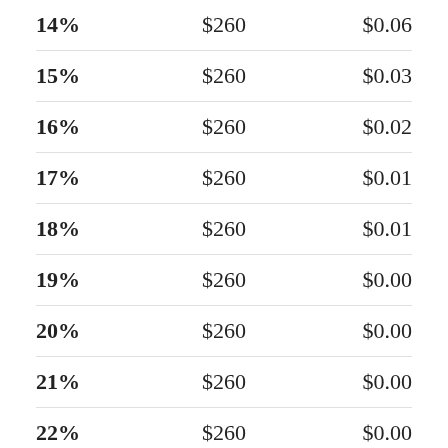| 14% | $260 | $0.06 |
| 15% | $260 | $0.03 |
| 16% | $260 | $0.02 |
| 17% | $260 | $0.01 |
| 18% | $260 | $0.01 |
| 19% | $260 | $0.00 |
| 20% | $260 | $0.00 |
| 21% | $260 | $0.00 |
| 22% | $260 | $0.00 |
| 23% | $260 | $0.00 |
| 24% | $260 | $0.00 |